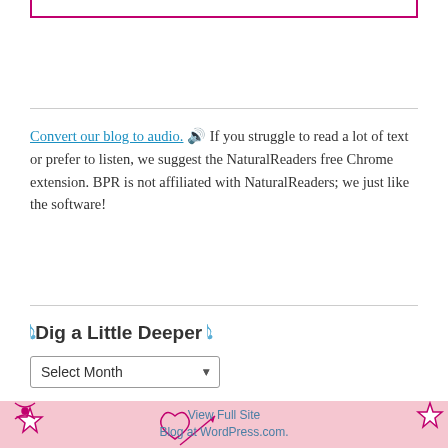Convert our blog to audio. 🔊 If you struggle to read a lot of text or prefer to listen, we suggest the NaturalReaders free Chrome extension. BPR is not affiliated with NaturalReaders; we just like the software!
🎵 Dig a Little Deeper 🎵
Select Month (dropdown)
[Figure (illustration): Pink background footer with decorative star and bow illustrations in pink and white, with heart and arrow motifs]
View Full Site
Blog at WordPress.com.